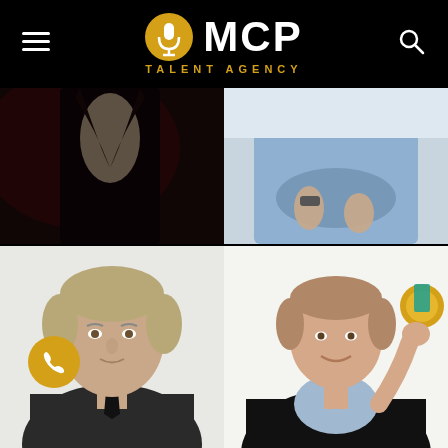[Figure (logo): MCP Talent Agency logo with gold microphone icon and white MCP text on black background, with hamburger menu icon on left and search icon on right]
[Figure (photo): Top-left photo: close-up of a person in a dark suit with a light shirt, dramatic dark red lighting]
[Figure (photo): Top-right photo: person in a light blue shirt holding something, casual pose against light background]
[Figure (photo): Bottom-left photo: middle-aged man with grey-blond hair in a dark suit jacket, professional headshot on light background]
[Figure (photo): Bottom-right photo: young man in a blue shirt and black blazer holding up a gold medal, smiling, with teal ribbon visible]